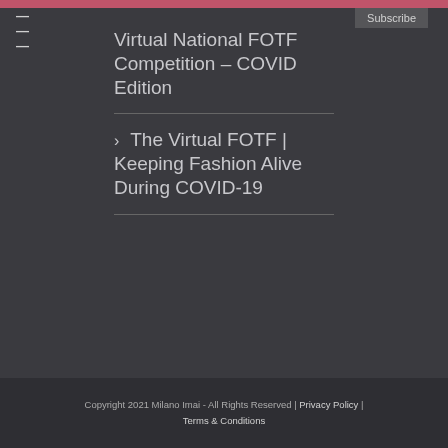Subscribe
Virtual National FOTF Competition – COVID Edition
The Virtual FOTF | Keeping Fashion Alive During COVID-19
Copyright 2021 Milano Imai - All Rights Reserved | Privacy Policy | Terms & Conditions